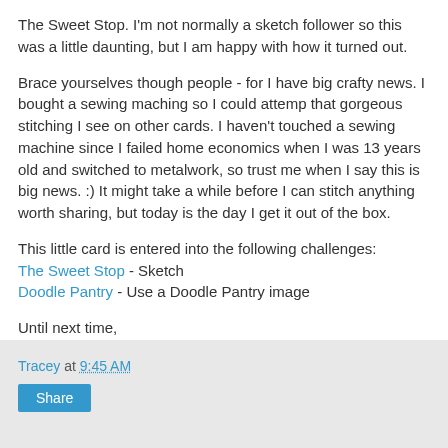The Sweet Stop. I'm not normally a sketch follower so this was a little daunting, but I am happy with how it turned out.
Brace yourselves though people - for I have big crafty news. I bought a sewing maching so I could attemp that gorgeous stitching I see on other cards. I haven't touched a sewing machine since I failed home economics when I was 13 years old and switched to metalwork, so trust me when I say this is big news. :) It might take a while before I can stitch anything worth sharing, but today is the day I get it out of the box.
This little card is entered into the following challenges:
The Sweet Stop - Sketch
Doodle Pantry - Use a Doodle Pantry image
Until next time,
Tracey
Tracey at 9:45 AM
Share